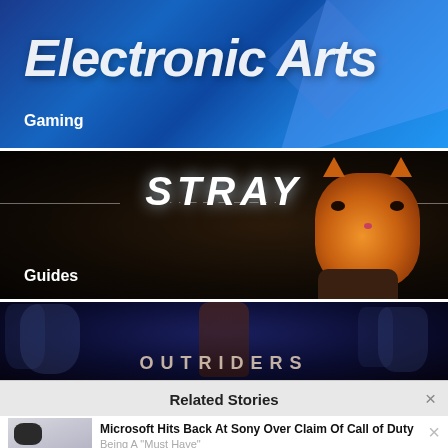[Figure (screenshot): Electronic Arts banner with blue geometric background, large white italic bold text 'Electronic Arts', and 'Gaming' label below]
[Figure (screenshot): Stray video game banner showing the STRAY logo in glowing white text and an orange cat in dark background, with 'Guides' label]
[Figure (screenshot): Outriders game banner with dark blue sci-fi artwork and 'OUTRIDERS' text at the bottom]
Related Stories
[Figure (screenshot): Thumbnail image of Xbox controller and console]
Microsoft Hits Back At Sony Over Claim Of Call of Duty Being A "Must Have"